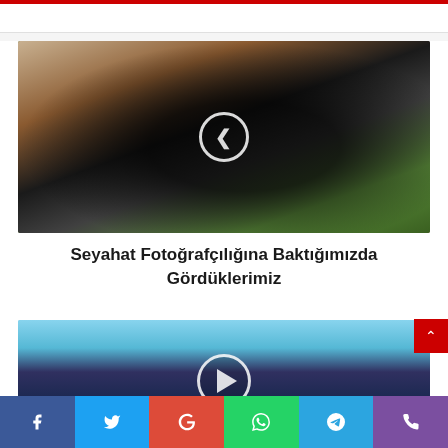[Figure (photo): Person playing an acoustic guitar outdoors on grass, with a circular play/navigation button overlay in the center]
Seyahat Fotoğrafçılığına Baktığımızda Gördüklerimiz
[Figure (photo): Person standing outdoors near water, cropped at waist level, with a circular play/next button overlay at the bottom center]
Social share bar: Facebook, Twitter, Google, WhatsApp, Telegram, Phone